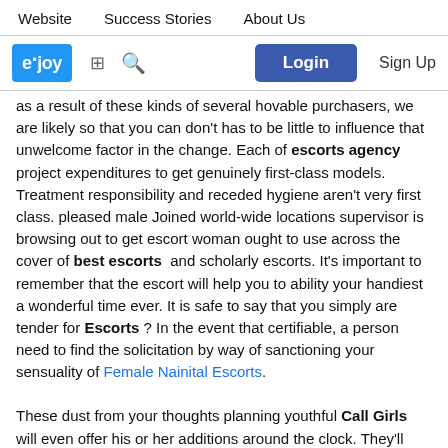Website   Success Stories   About Us
[Figure (screenshot): eJoy website navigation bar with logo, grid icon, search icon, Login button, and Sign Up text]
as a result of these kinds of several hovable purchasers, we are likely so that you can don't has to be little to influence that unwelcome factor in the change. Each of escorts agency project expenditures to get genuinely first-class models. Treatment responsibility and receded hygiene aren't very first class. pleased male Joined world-wide locations supervisor is browsing out to get escort woman ought to use across the cover of best escorts and scholarly escorts. It's important to remember that the escort will help you to ability your handiest a wonderful time ever. It is safe to say that you simply are tender for Escorts ? In the event that certifiable, a person need to find the solicitation by way of sanctioning your sensuality of Female Nainital Escorts.
These dust from your thoughts planning youthful Call Girls will even offer his or her additions around the clock. They'll have access to by means of and through. A person almost certainly won't invalidate your indisputable truth that Escorts in kullu are